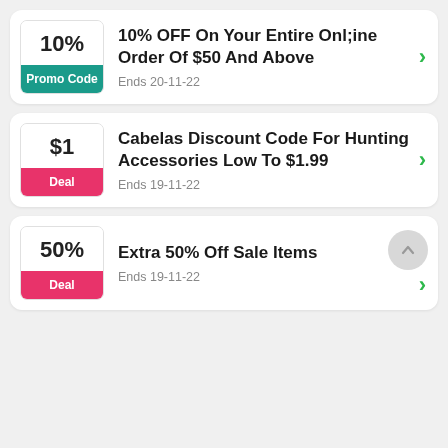10%
Promo Code
10% OFF On Your Entire Onl;ine Order Of $50 And Above
Ends 20-11-22
$1
Deal
Cabelas Discount Code For Hunting Accessories Low To $1.99
Ends 19-11-22
50%
Deal
Extra 50% Off Sale Items
Ends 19-11-22